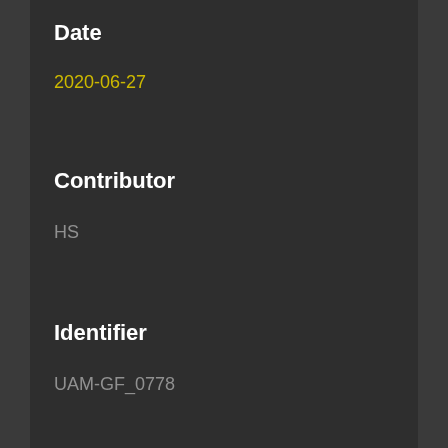Date
2020-06-27
Contributor
HS
Identifier
UAM-GF_0778
Geolocation
[Figure (map): Interactive map showing geolocation with zoom controls and a grey landmass/terrain outline visible]